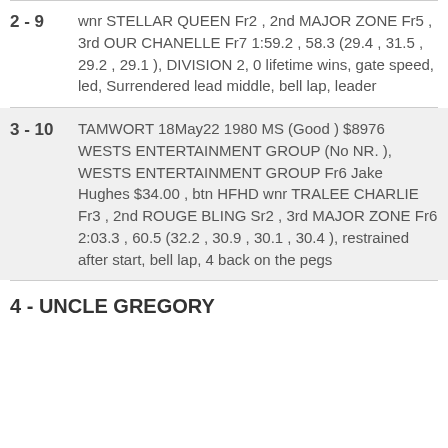2 - 9  wnr STELLAR QUEEN Fr2 , 2nd MAJOR ZONE Fr5 , 3rd OUR CHANELLE Fr7 1:59.2 , 58.3 (29.4 , 31.5 , 29.2 , 29.1 ), DIVISION 2, 0 lifetime wins, gate speed, led, Surrendered lead middle, bell lap, leader
3 - 10  TAMWORT 18May22 1980 MS (Good ) $8976 WESTS ENTERTAINMENT GROUP (No NR. ), WESTS ENTERTAINMENT GROUP Fr6 Jake Hughes $34.00 , btn HFHD wnr TRALEE CHARLIE Fr3 , 2nd ROUGE BLING Sr2 , 3rd MAJOR ZONE Fr6 2:03.3 , 60.5 (32.2 , 30.9 , 30.1 , 30.4 ), restrained after start, bell lap, 4 back on the pegs
4 - UNCLE GREGORY
Fr4